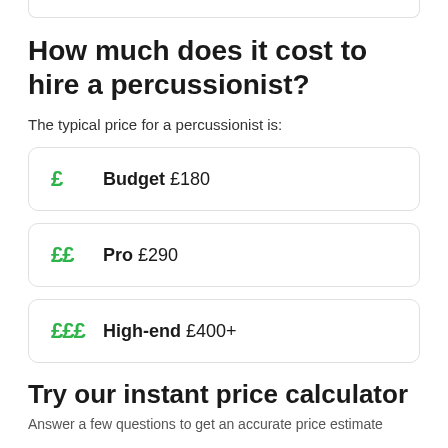How much does it cost to hire a percussionist?
The typical price for a percussionist is:
£  Budget £180
££  Pro £290
£££  High-end £400+
Try our instant price calculator